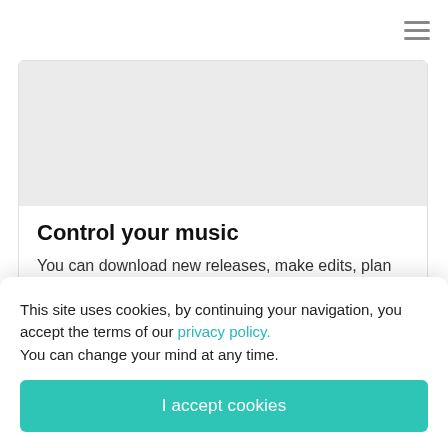[Figure (screenshot): Navigation bar with hamburger menu icon (three horizontal lines) in the top right corner]
[Figure (screenshot): Light gray rectangular placeholder image area inside a card]
Control your music
You can download new releases, make edits, plan the release date, follow the status of moderation etc
This site uses cookies, by continuing your navigation, you accept the terms of our privacy policy.
You can change your mind at any time.
I accept cookies